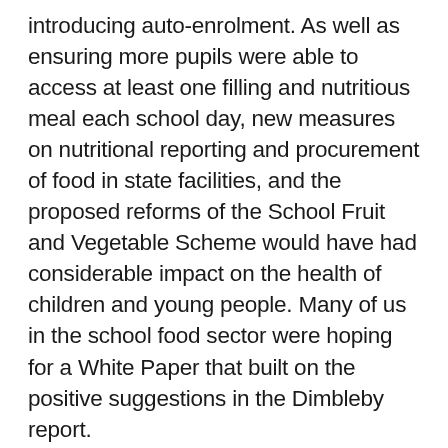introducing auto-enrolment. As well as ensuring more pupils were able to access at least one filling and nutritious meal each school day, new measures on nutritional reporting and procurement of food in state facilities, and the proposed reforms of the School Fruit and Vegetable Scheme would have had considerable impact on the health of children and young people. Many of us in the school food sector were hoping for a White Paper that built on the positive suggestions in the Dimbleby report.
The document published yesterday by Government will, sadly, have little impact on the real issues facing children and young